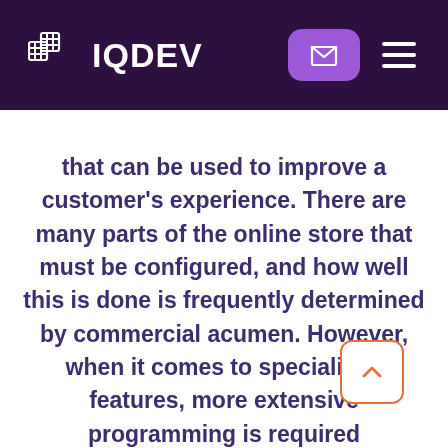IQDEV
that can be used to improve a customer's experience. There are many parts of the online store that must be configured, and how well this is done is frequently determined by commercial acumen. However, when it comes to specialised features, more extensive programming is required